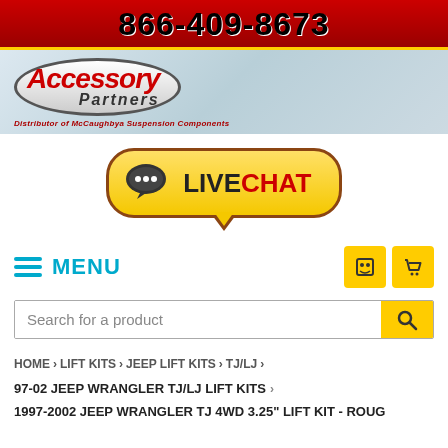866-409-8673
[Figure (logo): Accessory Partners logo - distributor of McCaughbya Suspension Components]
[Figure (illustration): Live Chat button with speech bubble icon and yellow pill-shaped button]
MENU
Search for a product
HOME > LIFT KITS > JEEP LIFT KITS > TJ/LJ >
97-02 JEEP WRANGLER TJ/LJ LIFT KITS >
1997-2002 JEEP WRANGLER TJ 4WD 3.25" LIFT KIT - ROUG